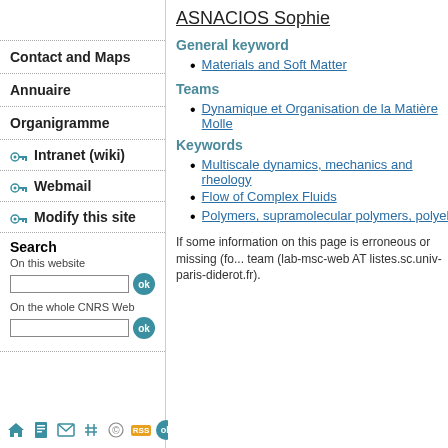ASNACIOS Sophie
General keyword
Materials and Soft Matter
Teams
Dynamique et Organisation de la Matière Molle
Keywords
Multiscale dynamics, mechanics and rheology
Flow of Complex Fluids
Polymers, supramolecular polymers, polyelectrolyte
If some information on this page is erroneous or missing (fo... team (lab-msc-web AT listes.sc.univ-paris-diderot.fr).
Contact and Maps
Annuaire
Organigramme
Intranet (wiki)
Webmail
Modify this site
Search
On this website
On the whole CNRS Web